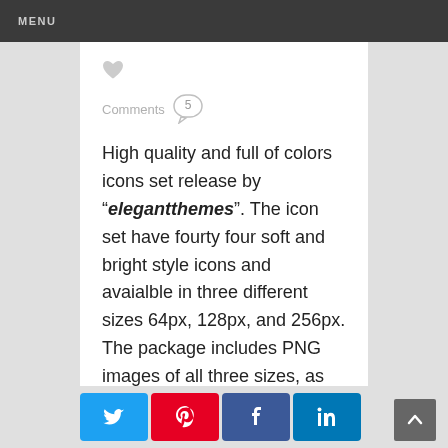MENU
[Figure (illustration): Gray heart icon]
Comments 5
High quality and full of colors icons set release by "elegantthemes". The icon set have fourty four soft and bright style icons and avaialble in three different sizes 64px, 128px, and 256px. The package includes PNG images of all three sizes, as well as the original PSD files for each icon
[Figure (infographic): Social share buttons: Twitter (blue), Pinterest (red), Facebook (blue), LinkedIn (dark blue)]